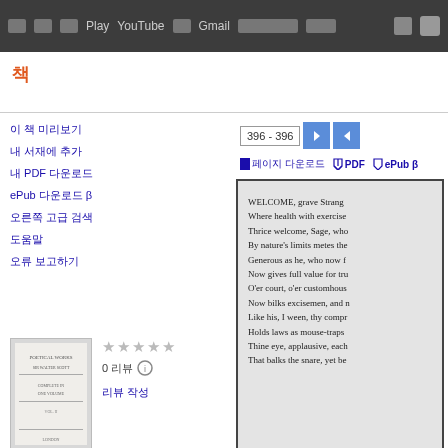웹 앱 도구 Play YouTube 지도 Gmail 캘린더 더보기
책
이 책 미리보기
내 서재에 추가
내 PDF 다운로드
ePub 다운로드 β
오른쪽 고급 검색
도움말
오류 보고하기
[Figure (other): Book cover thumbnail for The Poetical Works of Sir Walter Scott]
The Poetical Works of Sir Walter Scott, Bart: Complete in One Volume ..., 제 2 권
[Figure (other): Book page showing poem text starting with WELCOME, grave Stranger...]
WELCOME, grave Stranger, Where health with exercise Where health with exercise Thrice welcome, Sage, who By nature's limits metes the Generous as he, who now f Now gives full value for tru O'er court, o'er customhous Now bilks excisemen, and n Like his, I ween, thy compr Holds laws as mouse-traps Thine eye, applausive, each That balks the snare, yet be